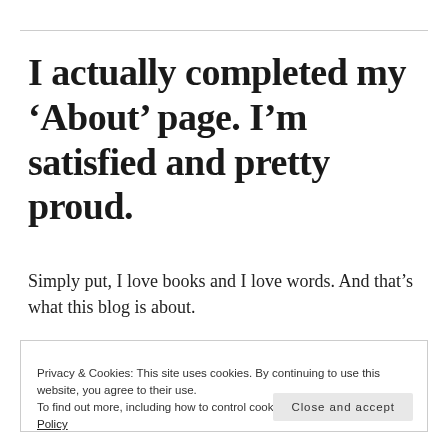I actually completed my ‘About’ page. I’m satisfied and pretty proud.
Simply put, I love books and I love words. And that’s what this blog is about.
Privacy & Cookies: This site uses cookies. By continuing to use this website, you agree to their use.
To find out more, including how to control cookies, see here: Cookie Policy
Close and accept